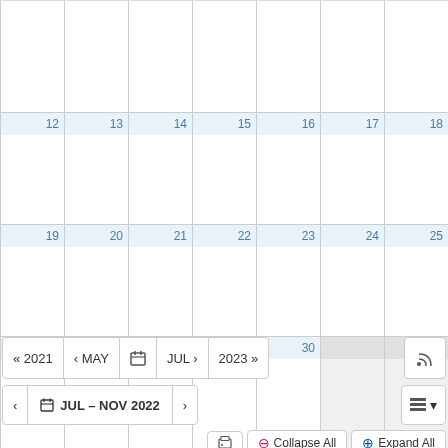[Figure (other): Calendar grid showing November 2022 weeks with dates 12-30, with greyed out cells for days beyond the month end.]
« 2021  ‹ MAY  [calendar icon]  JUL ›  2023 »
‹  [calendar icon] JUL – NOV 2022  ›
Collapse All  Expand All